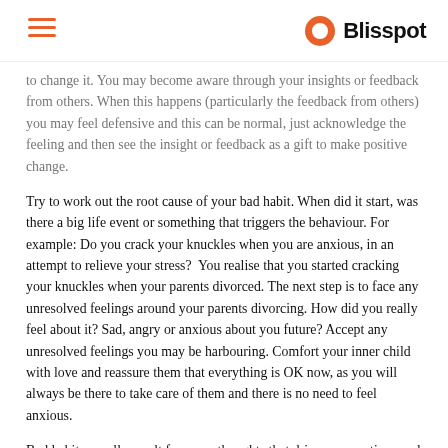Blisspot
to change it. You may become aware through your insights or feedback from others. When this happens (particularly the feedback from others) you may feel defensive and this can be normal, just acknowledge the feeling and then see the insight or feedback as a gift to make positive change.
Try to work out the root cause of your bad habit. When did it start, was there a big life event or something that triggers the behaviour. For example: Do you crack your knuckles when you are anxious, in an attempt to relieve your stress?  You realise that you started cracking your knuckles when your parents divorced. The next step is to face any unresolved feelings around your parents divorcing. How did you really feel about it? Sad, angry or anxious about you future? Accept any unresolved feelings you may be harbouring. Comfort your inner child with love and reassure them that everything is OK now, as you will always be there to take care of them and there is no need to feel anxious.
Bad habits usually result from our thoughts that drive our emotions and resulting behaviours. Becoming aware of your